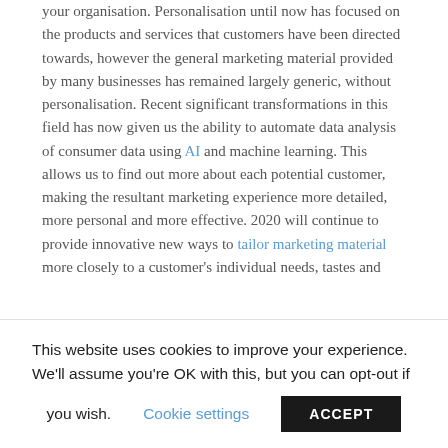your organisation. Personalisation until now has focused on the products and services that customers have been directed towards, however the general marketing material provided by many businesses has remained largely generic, without personalisation. Recent significant transformations in this field has now given us the ability to automate data analysis of consumer data using AI and machine learning. This allows us to find out more about each potential customer, making the resultant marketing experience more detailed, more personal and more effective. 2020 will continue to provide innovative new ways to tailor marketing material more closely to a customer's individual needs, tastes and preferences.
Account Based Marketing (ABM)
Marketing can still be about casting a wide net in the hope of pulling in as many leads as possible. And why not?
This website uses cookies to improve your experience. We'll assume you're OK with this, but you can opt-out if you wish. Cookie settings ACCEPT